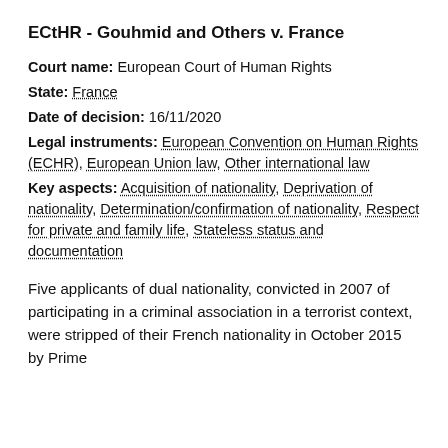ECtHR - Gouhmid and Others v. France
Court name: European Court of Human Rights
State: France
Date of decision: 16/11/2020
Legal instruments: European Convention on Human Rights (ECHR), European Union law, Other international law
Key aspects: Acquisition of nationality, Deprivation of nationality, Determination/confirmation of nationality, Respect for private and family life, Stateless status and documentation
Five applicants of dual nationality, convicted in 2007 of participating in a criminal association in a terrorist context, were stripped of their French nationality in October 2015 by Prime